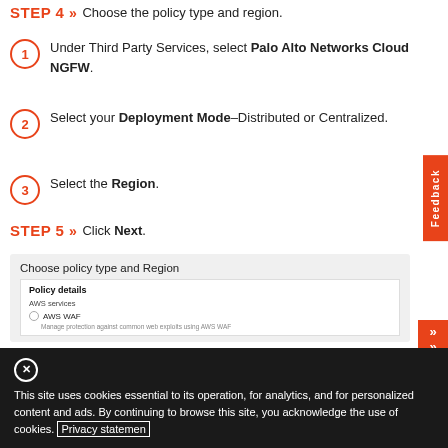STEP 4 » Choose the policy type and region.
Under Third Party Services, select Palo Alto Networks Cloud NGFW.
Select your Deployment Mode–Distributed or Centralized.
Select the Region.
STEP 5 » Click Next.
[Figure (screenshot): AWS Firewall Manager UI showing 'Choose policy type and Region' dialog with Policy details section, AWS services list, and AWS WAF radio button option.]
This site uses cookies essential to its operation, for analytics, and for personalized content and ads. By continuing to browse this site, you acknowledge the use of cookies. Privacy statement